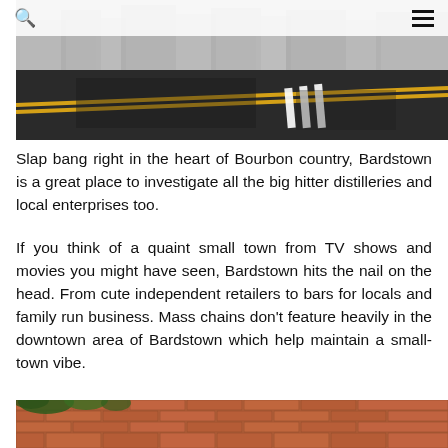[Figure (photo): Street-level photo of a dark asphalt road with yellow center lines and white pedestrian crossing markings, with buildings visible in the background. Navigation bar with search and hamburger menu icons overlaid at top.]
Slap bang right in the heart of Bourbon country, Bardstown is a great place to investigate all the big hitter distilleries and local enterprises too.
If you think of a quaint small town from TV shows and movies you might have seen, Bardstown hits the nail on the head. From cute independent retailers to bars for locals and family run business. Mass chains don't feature heavily in the downtown area of Bardstown which help maintain a small-town vibe.
[Figure (photo): Close-up photo of a red brick wall with vegetation/plants visible at the top edge.]